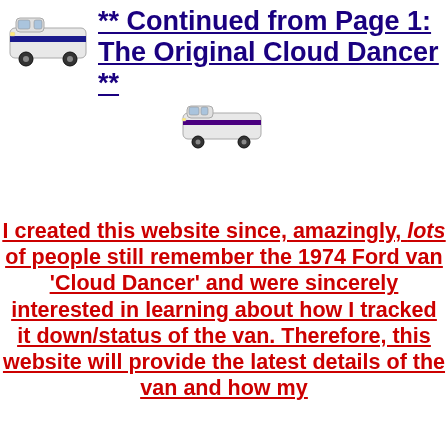[Figure (illustration): Small image of a white/blue Ford van (Cloud Dancer) in the upper left corner]
** Continued from Page 1: The Original Cloud Dancer **
[Figure (illustration): Small image of a white/blue Ford van (Cloud Dancer) centered below title]
I created this website since, amazingly, lots of people still remember the 1974 Ford van 'Cloud Dancer' and were sincerely interested in learning about how I tracked it down/status of the van. Therefore, this website will provide the latest details of the van and how my